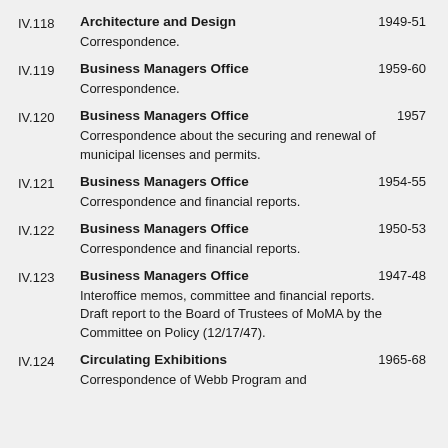IV.118 Architecture and Design 1949-51
Correspondence.
IV.119 Business Managers Office 1959-60
Correspondence.
IV.120 Business Managers Office 1957
Correspondence about the securing and renewal of municipal licenses and permits.
IV.121 Business Managers Office 1954-55
Correspondence and financial reports.
IV.122 Business Managers Office 1950-53
Correspondence and financial reports.
IV.123 Business Managers Office 1947-48
Interoffice memos, committee and financial reports.
Draft report to the Board of Trustees of MoMA by the Committee on Policy (12/17/47).
IV.124 Circulating Exhibitions 1965-68
Correspondence of Webb Program and...